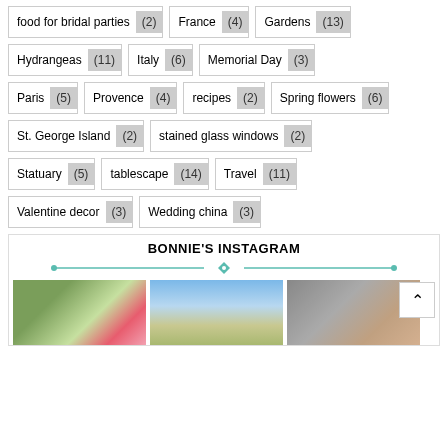food for bridal parties (2)
France (4)
Gardens (13)
Hydrangeas (11)
Italy (6)
Memorial Day (3)
Paris (5)
Provence (4)
recipes (2)
Spring flowers (6)
St. George Island (2)
stained glass windows (2)
Statuary (5)
tablescape (14)
Travel (11)
Valentine decor (3)
Wedding china (3)
BONNIE'S INSTAGRAM
[Figure (photo): Three Instagram photos: flowers/garden, sky/field, wood/architectural detail]